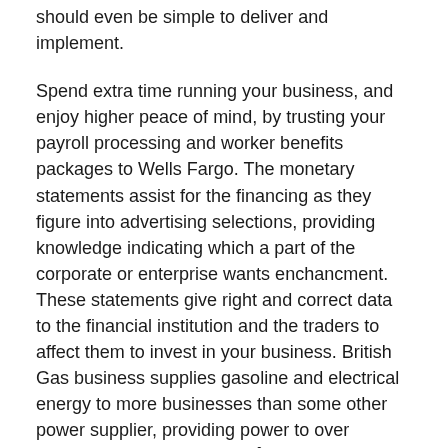should even be simple to deliver and implement.
Spend extra time running your business, and enjoy higher peace of mind, by trusting your payroll processing and worker benefits packages to Wells Fargo. The monetary statements assist for the financing as they figure into advertising selections, providing knowledge indicating which a part of the corporate or enterprise wants enchancment. These statements give right and correct data to the financial institution and the traders to affect them to invest in your business. British Gas business supplies gasoline and electrical energy to more businesses than some other power supplier, providing power to over 350,000 British companies.Â But we are not a utility. We're an power and services company. All prospects becoming a member of or renewing with us get a boiler service on us – even when we don't provide your gasoline. It's just one of many methods we assist keep businesses working easily.